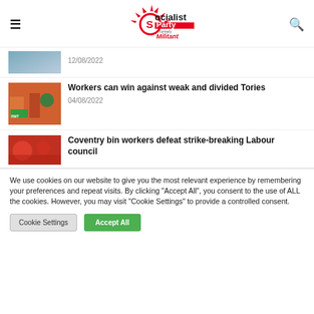Socialist Party — Formerly Militant
12/08/2022
Workers can win against weak and divided Tories
04/08/2022
Coventry bin workers defeat strike-breaking Labour council
We use cookies on our website to give you the most relevant experience by remembering your preferences and repeat visits. By clicking "Accept All", you consent to the use of ALL the cookies. However, you may visit "Cookie Settings" to provide a controlled consent.